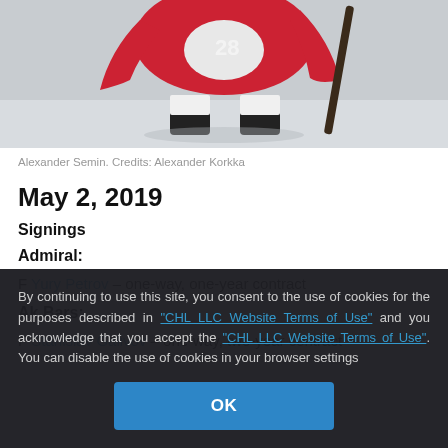[Figure (photo): Hockey player in red and white uniform on ice, cropped from torso down showing skates and stick]
Alexander Semin. Credits: Alexander Korkka
May 2, 2019
Signings
Admiral:
F Yury Petrov – one-way, one-year contract
Ak Bars:
F Stanislav Galivov – one-way, two-year contract
By continuing to use this site, you consent to the use of cookies for the purposes described in "CHL LLC Website Terms of Use" and you acknowledge that you accept the "CHL LLC Website Terms of Use". You can disable the use of cookies in your browser settings
OK